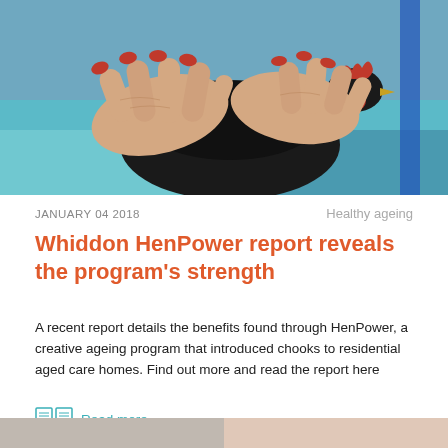[Figure (photo): Close-up photograph of elderly hands with red nail polish resting on a black chicken, with a blue background (wheelchair/clothing visible).]
JANUARY 04 2018
Healthy ageing
Whiddon HenPower report reveals the program's strength
A recent report details the benefits found through HenPower, a creative ageing program that introduced chooks to residential aged care homes. Find out more and read the report here
Read more...
[Figure (photo): Bottom strip showing partial images – left appears warm/tan tones, right appears warm skin tones.]